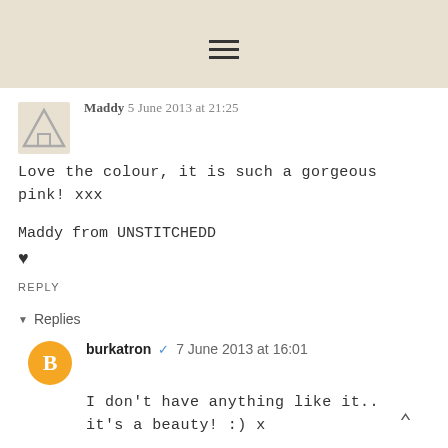☰ (hamburger menu icon)
Maddy 5 June 2013 at 21:25
Love the colour, it is such a gorgeous pink! xxx
Maddy from UNSTITCHEDD
♥
REPLY
▾ Replies
burkatron ✔ 7 June 2013 at 16:01
I don't have anything like it.. it's a beauty! :) x